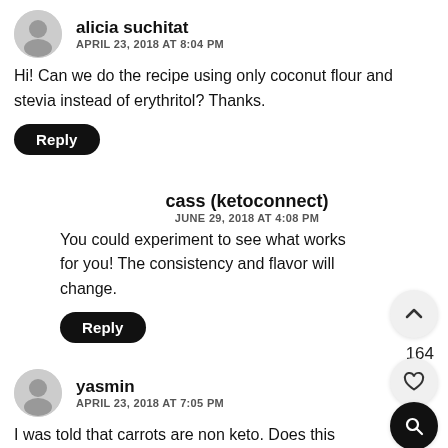alicia suchitat
APRIL 23, 2018 AT 8:04 PM
Hi! Can we do the recipe using only coconut flour and stevia instead of erythritol? Thanks.
Reply
cass (ketoconnect)
JUNE 29, 2018 AT 4:08 PM
You could experiment to see what works for you! The consistency and flavor will change.
Reply
yasmin
APRIL 23, 2018 AT 7:05 PM
I was told that carrots are non keto. Does this mean that this recipe would be low carb? I'm totally confused!
Reply